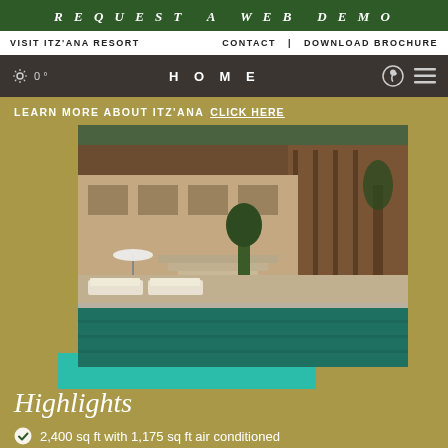REQUEST A WEB DEMO
VISIT ITZ'ANA RESORT   CONTACT  |  DOWNLOAD BROCHURE
0°  HOME
LEARN MORE ABOUT ITZ'ANA  CLICK HERE
[Figure (photo): Luxury resort pool area with lounge chairs, umbrella, steps leading to a villa surrounded by tropical greenery]
Highlights
2,400 sq ft with 1,175 sq ft air conditioned
Dual master bedrooms
Vaulted ceilings